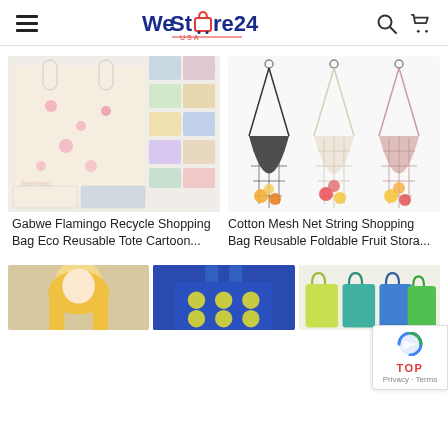WeStore24
[Figure (photo): Gabwe Flamingo Recycle Shopping Bag Eco Reusable Tote Cartoon product collage]
[Figure (photo): Cotton Mesh Net String Shopping Bag Reusable Foldable Fruit Storage bags in black, cream, and pink with fruit inside]
Gabwe Flamingo Recycle Shopping Bag Eco Reusable Tote Cartoon...
Cotton Mesh Net String Shopping Bag Reusable Foldable Fruit Stora...
[Figure (photo): Partial product image - blonde barbie doll]
[Figure (photo): Partial product image - blue patterned reusable bag]
[Figure (photo): Partial product image - colorful tote bags row]